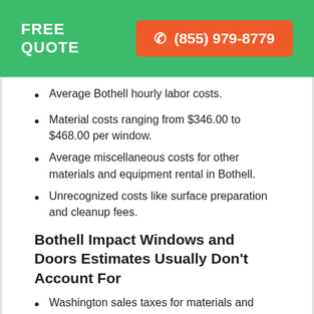FREE QUOTE  ☎ (855) 979-8779
Average Bothell hourly labor costs.
Material costs ranging from $346.00 to $468.00 per window.
Average miscellaneous costs for other materials and equipment rental in Bothell.
Unrecognized costs like surface preparation and cleanup fees.
Bothell Impact Windows and Doors Estimates Usually Don't Account For
Washington sales taxes for materials and related equipment.
Required permits and building fees enforced by Bothell